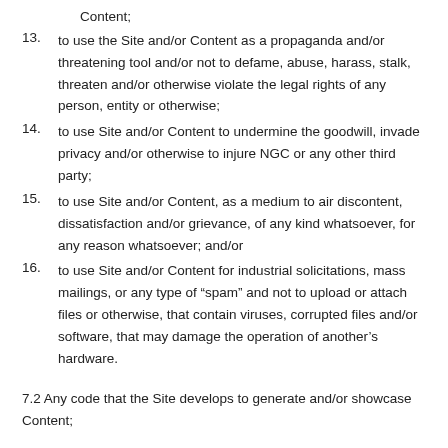Content;
13. to use the Site and/or Content as a propaganda and/or threatening tool and/or not to defame, abuse, harass, stalk, threaten and/or otherwise violate the legal rights of any person, entity or otherwise;
14. to use Site and/or Content to undermine the goodwill, invade privacy and/or otherwise to injure NGC or any other third party;
15. to use Site and/or Content, as a medium to air discontent, dissatisfaction and/or grievance, of any kind whatsoever, for any reason whatsoever; and/or
16. to use Site and/or Content for industrial solicitations, mass mailings, or any type of “spam” and not to upload or attach files or otherwise, that contain viruses, corrupted files and/or software, that may damage the operation of another’s hardware.
7.2 Any code that the Site develops to generate and/or showcase Content;